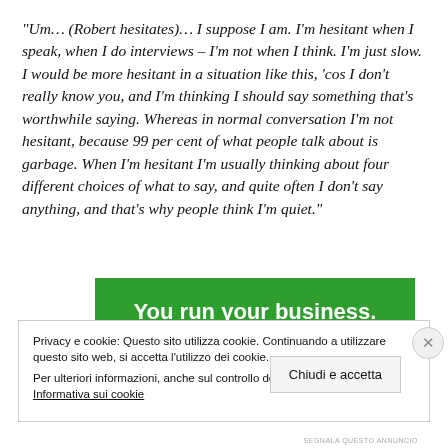“Um… (Robert hesitates)… I suppose I am. I’m hesitant when I speak, when I do interviews – I’m not when I think. I’m just slow. I would be more hesitant in a situation like this, ‘cos I don’t really know you, and I’m thinking I should say something that’s worthwhile saying. Whereas in normal conversation I’m not hesitant, because 99 per cent of what people talk about is garbage. When I’m hesitant I’m usually thinking about four different choices of what to say, and quite often I don’t say anything, and that’s why people think I’m quiet.”
[Figure (infographic): Green advertisement banner with white bold text: 'You run your business.']
Privacy e cookie: Questo sito utilizza cookie. Continuando a utilizzare questo sito web, si accetta l’utilizzo dei cookie.
Per ulteriori informazioni, anche sul controllo dei cookie, leggi qui:
Informativa sui cookie
Chiudi e accetta